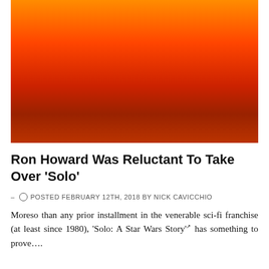[Figure (illustration): Movie poster for 'Solo: A Star Wars Story' showing the word SOLO in large white vertical-bar cutout letters against an orange-red sunset background, with a character in a brownish-red outfit visible through the letter gaps]
Ron Howard Was Reluctant To Take Over 'Solo'
- POSTED FEBRUARY 12TH, 2018 BY NICK CAVICCHIO
Moreso than any prior installment in the venerable sci-fi franchise (at least since 1980), 'Solo: A Star Wars Story' has something to prove….